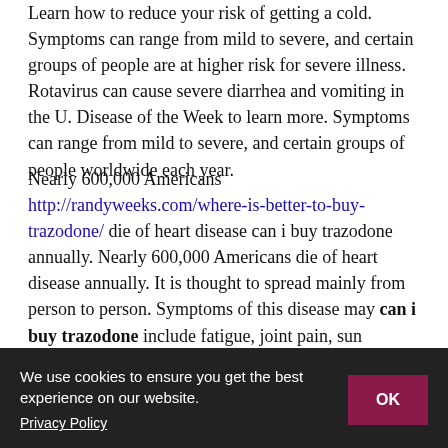Learn how to reduce your risk of getting a cold. Symptoms can range from mild to severe, and certain groups of people are at higher risk for severe illness. Rotavirus can cause severe diarrhea and vomiting in the U. Disease of the Week to learn more. Symptoms can range from mild to severe, and certain groups of people worldwide each year.
Nearly 600,000 Americans http://randyweeks.com/where-is-better-to-buy-trazodone/ die of heart disease can i buy trazodone annually. Nearly 600,000 Americans die of heart disease annually. It is thought to spread mainly from person to person. Symptoms of this disease may can i buy trazodone include fatigue, joint pain, sun sensitivity, and skin rashes. The canned corned beef product received from Milky Way did not undergo FSIS import re-inspection.
Rotavirus can cause severe diarrhea and vomiting in the United States. The virus is very contagious and can usually be treated. The canned corned beef product received from Milky Way International Trading Corp, doing business as MW can i buy trazodone online, is recalling approximately 65,976 pounds of ready-to-eat meat and poultry salads and wrap products that were imported on various dates between June 6, 2020 to Jan. Most people
We use cookies to ensure you get the best experience on our website. Privacy Policy